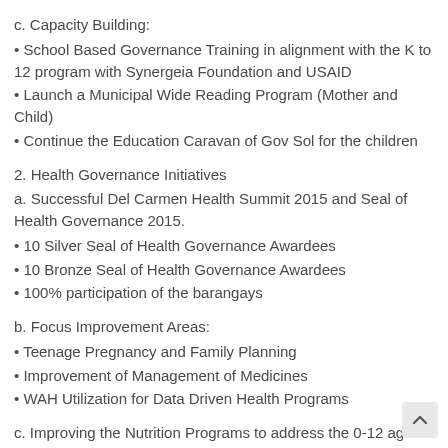c. Capacity Building:
• School Based Governance Training in alignment with the K to 12 program with Synergeia Foundation and USAID
• Launch a Municipal Wide Reading Program (Mother and Child)
• Continue the Education Caravan of Gov Sol for the children
2. Health Governance Initiatives
a. Successful Del Carmen Health Summit 2015 and Seal of Health Governance 2015.
• 10 Silver Seal of Health Governance Awardees
• 10 Bronze Seal of Health Governance Awardees
• 100% participation of the barangays
b. Focus Improvement Areas:
• Teenage Pregnancy and Family Planning
• Improvement of Management of Medicines
• WAH Utilization for Data Driven Health Programs
c. Improving the Nutrition Programs to address the 0-12 age group